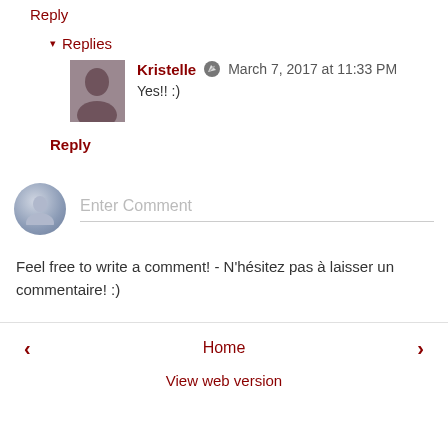Reply
▾ Replies
Kristelle ✏ March 7, 2017 at 11:33 PM
Yes!! :)
Reply
[Figure (other): Comment input area with placeholder avatar and 'Enter Comment' text field]
Feel free to write a comment! - N'hésitez pas à laisser un commentaire! :)
< Home > | View web version